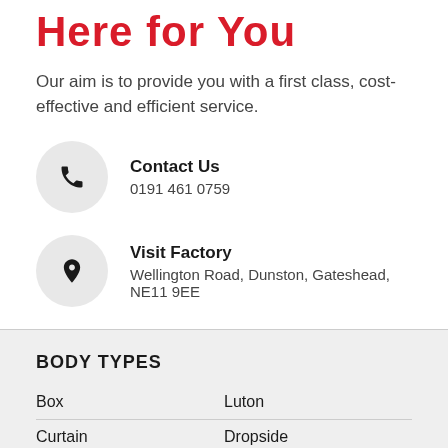Here for You
Our aim is to provide you with a first class, cost-effective and efficient service.
Contact Us
0191 461 0759
Visit Factory
Wellington Road, Dunston, Gateshead, NE11 9EE
BODY TYPES
Box
Luton
Curtain
Dropside